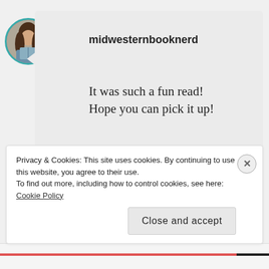[Figure (photo): Circular avatar photo of a woman with long dark hair holding a book, with a teal border]
midwesternbooknerd
It was such a fun read! Hope you can pick it up!
★ Liked by 1 person
JUNE 13, 2018 AT 10:09 AM
↪ REPLY
Privacy & Cookies: This site uses cookies. By continuing to use this website, you agree to their use.
To find out more, including how to control cookies, see here: Cookie Policy
Close and accept